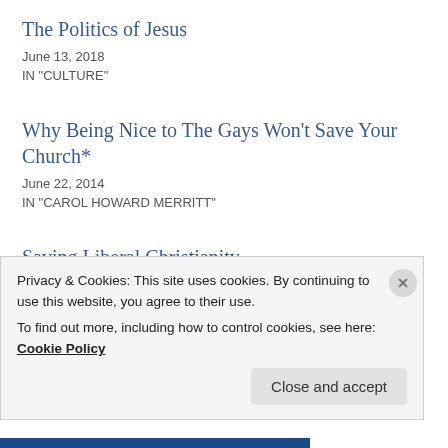The Politics of Jesus
June 13, 2018
IN "CULTURE"
Why Being Nice to The Gays Won't Save Your Church*
June 22, 2014
IN "CAROL HOWARD MERRITT"
Saving Liberal Christianity
July 16, 2012
IN "DISCIPLES OF CHRIST"
Privacy & Cookies: This site uses cookies. By continuing to use this website, you agree to their use.
To find out more, including how to control cookies, see here: Cookie Policy
Close and accept